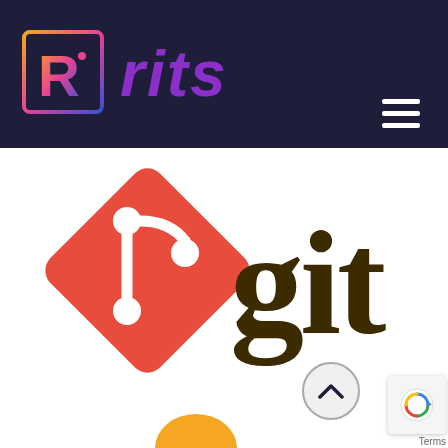[Figure (logo): RITS logo with stylized R in a square bracket frame and 'rits' text in purple italic, displayed on dark navy background header with hamburger menu icon]
[Figure (logo): Git logo: orange-red diamond shape with white git branch icon on left, and 'git' text in dark olive/brown on right, on white background]
[Figure (other): Partial view of scroll-to-top button (circle with up chevron), reCAPTCHA badge, Terms text, and partial orange circle at bottom]